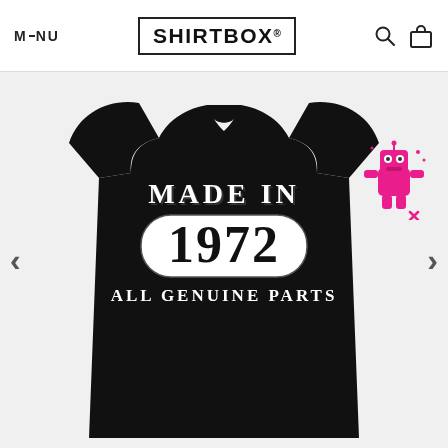MENU | SHIRTBOX® | [search icon] [cart icon]
[Figure (photo): Black t-shirt with 'MADE IN 1972 ALL GENUINE PARTS' printed on the front in white and grey collegiate/varsity lettering with a rounded rectangle around '1972']
[Figure (illustration): Small pink cartoon robot mascot in the upper-right corner of the product image area]
< (previous arrow) > (next arrow)